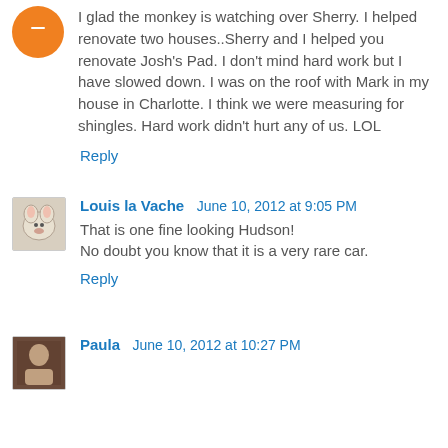I glad the monkey is watching over Sherry. I helped renovate two houses..Sherry and I helped you renovate Josh's Pad. I don't mind hard work but I have slowed down. I was on the roof with Mark in my house in Charlotte. I think we were measuring for shingles. Hard work didn't hurt any of us. LOL
Reply
Louis la Vache  June 10, 2012 at 9:05 PM
That is one fine looking Hudson!
No doubt you know that it is a very rare car.
Reply
Paula  June 10, 2012 at 10:27 PM